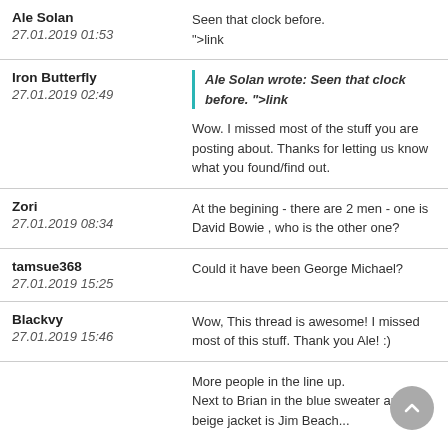Ale Solan | 27.01.2019 01:53 | Seen that clock before. ">link
Iron Butterfly | 27.01.2019 02:49 | [Quote: Ale Solan wrote: Seen that clock before. ">link] Wow. I missed most of the stuff you are posting about. Thanks for letting us know what you found/find out.
Zori | 27.01.2019 08:34 | At the begining - there are 2 men - one is David Bowie , who is the other one?
tamsue368 | 27.01.2019 15:25 | Could it have been George Michael?
Blackvy | 27.01.2019 15:46 | Wow, This thread is awesome! I missed most of this stuff. Thank you Ale! :)
More people in the line up. Next to Brian in the blue sweater and beige jacket is Jim Beach...